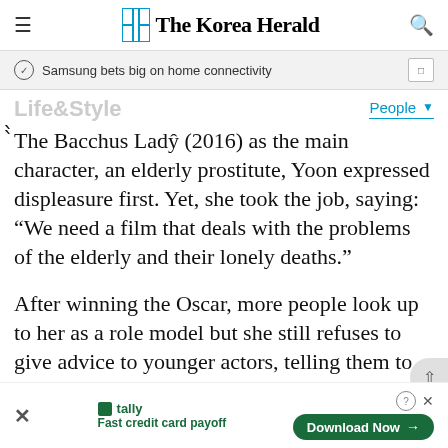The Korea Herald
Samsung bets big on home connectivity
Life&Style
"The Bacchus Lady" (2016) as the main character, an elderly prostitute, Yoon expressed displeasure first. Yet, she took the job, saying: “We need a film that deals with the problems of the elderly and their lonely deaths.”
After winning the Oscar, more people look up to her as a role model but she still refuses to give advice to younger actors, telling them to just live
Fast credit card payoff — tally | Download Now